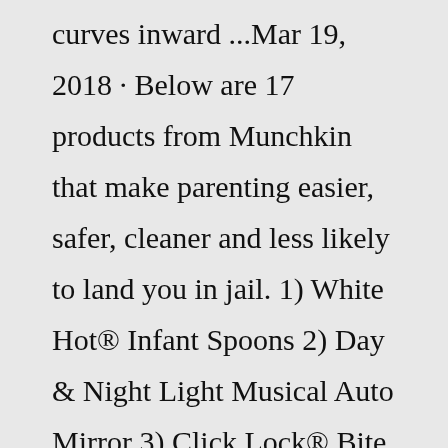curves inward ...Mar 19, 2018 · Below are 17 products from Munchkin that make parenting easier, safer, cleaner and less likely to land you in jail. 1) White Hot® Infant Spoons 2) Day & Night Light Musical Auto Mirror 3) Click Lock® Bite Proof Sippy Cup 4) Arm & Hammer™ Diaper Pail by Munchkin 5) Mist™ Wipe Warmer 6) Miracle 360° Cup 7) Click Lock® Weighted Flexi-Straw ... What Aging Parents Want From Their Kids.